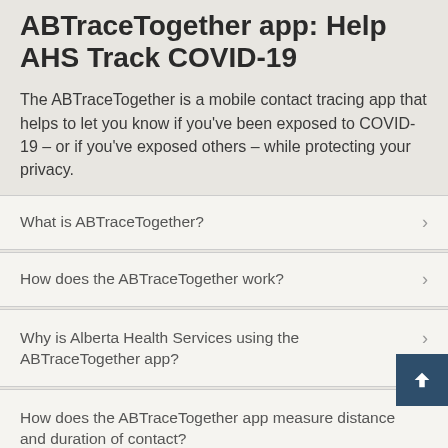ABTraceTogether app: Help AHS Track COVID-19
The ABTraceTogether is a mobile contact tracing app that helps to let you know if you've been exposed to COVID-19 – or if you've exposed others – while protecting your privacy.
What is ABTraceTogether?
How does the ABTraceTogether work?
Why is Alberta Health Services using the ABTraceTogether app?
How does the ABTraceTogether app measure distance and duration of contact?